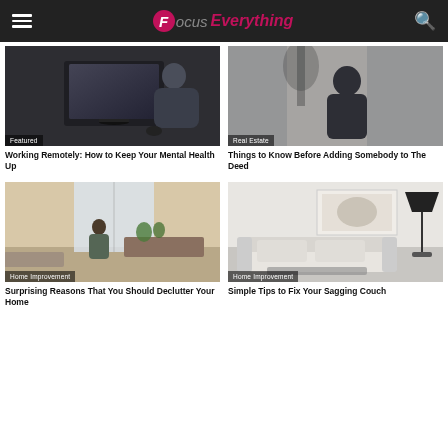Focus Everything
[Figure (photo): Man working on laptop at desk, seen from behind]
Featured
Working Remotely: How to Keep Your Mental Health Up
[Figure (photo): Silhouette of person sitting at desk near window]
Real Estate
Things to Know Before Adding Somebody to The Deed
[Figure (photo): Person standing in bright home office room with plants]
Home Improvement
Surprising Reasons That You Should Declutter Your Home
[Figure (photo): Modern living room with white sofa and lamp]
Home Improvement
Simple Tips to Fix Your Sagging Couch